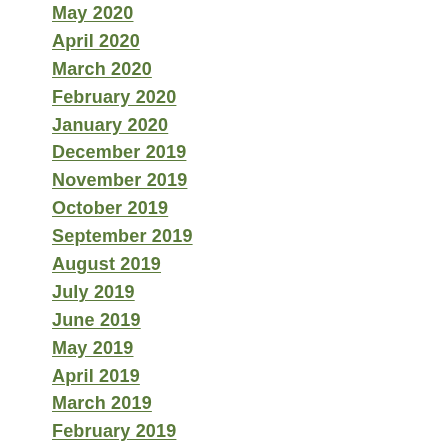May 2020
April 2020
March 2020
February 2020
January 2020
December 2019
November 2019
October 2019
September 2019
August 2019
July 2019
June 2019
May 2019
April 2019
March 2019
February 2019
November 2018
October 2018
August 2018